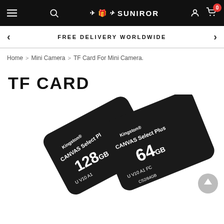SUNIROR navigation bar with hamburger menu, search, logo, user icon, and cart (0)
FREE DELIVERY WORLDWIDE
Home > Mini Camera > TF Card For Mini Camera.
TF CARD
[Figure (photo): Two Kingston Canvas Select Plus microSD cards — one 128GB and one 64GB — displayed on a white background, photographed at an angle showing the card faces with text 'Kingston Canvas Select Plus U V10 A1' visible.]